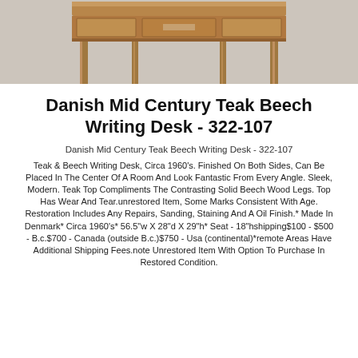[Figure (photo): Photograph of a Danish Mid Century Teak Beech Writing Desk viewed from the front, showing the teak top surface, drawer section, and beech wood legs on a light gray background.]
Danish Mid Century Teak Beech Writing Desk - 322-107
Danish Mid Century Teak Beech Writing Desk - 322-107
Teak & Beech Writing Desk, Circa 1960's. Finished On Both Sides, Can Be Placed In The Center Of A Room And Look Fantastic From Every Angle. Sleek, Modern. Teak Top Compliments The Contrasting Solid Beech Wood Legs. Top Has Wear And Tear.unrestored Item, Some Marks Consistent With Age. Restoration Includes Any Repairs, Sanding, Staining And A Oil Finish.* Made In Denmark* Circa 1960's* 56.5"w X 28"d X 29"h* Seat - 18"hshipping$100 - $500 - B.c.$700 - Canada (outside B.c.)$750 - Usa (continental)*remote Areas Have Additional Shipping Fees.note Unrestored Item With Option To Purchase In Restored Condition.